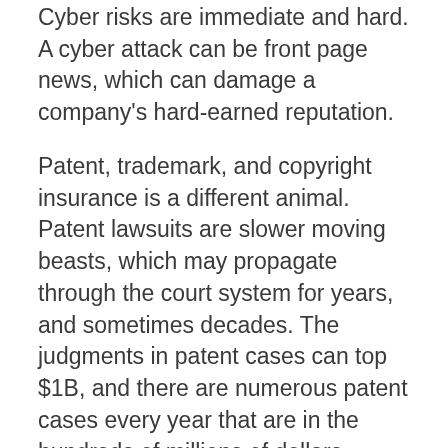Cyber risks are immediate and hard. A cyber attack can be front page news, which can damage a company's hard-earned reputation.
Patent, trademark, and copyright insurance is a different animal. Patent lawsuits are slower moving beasts, which may propagate through the court system for years, and sometimes decades. The judgments in patent cases can top $1B, and there are numerous patent cases every year that are in the hundreds of millions of dollars.
The costs of these lawsuits is typically between $700,000 and $4,000,000 – just in attorney's fees and litigation costs. This does not include any judgments that you might pay if you lose a patent lawsuit.
With patent and other information assets being largely